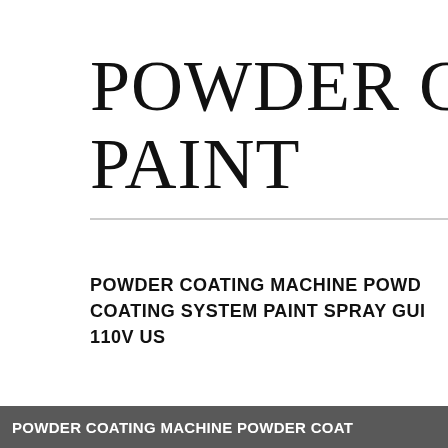POWDER COATING PAINT
POWDER COATING MACHINE POWDER COATING SYSTEM PAINT SPRAY GUN 110V US
POWDER COATING MACHINE POWDER COAT…